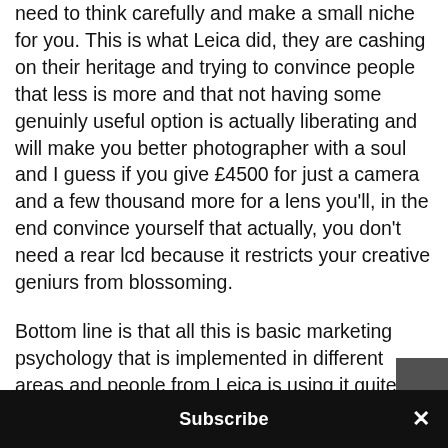need to think carefully and make a small niche for you. This is what Leica did, they are cashing on their heritage and trying to convince people that less is more and that not having some genuinly useful option is actually liberating and will make you better photographer with a soul and I guess if you give £4500 for just a camera and a few thousand more for a lens you'll, in the end convince yourself that actually, you don't need a rear lcd because it restricts your creative geniurs from blossoming.
Bottom line is that all this is basic marketing psychology that is implemented in different areas and people from Leica is using it quite wisely, it obviously works and that is OK, b...
Subscribe ×